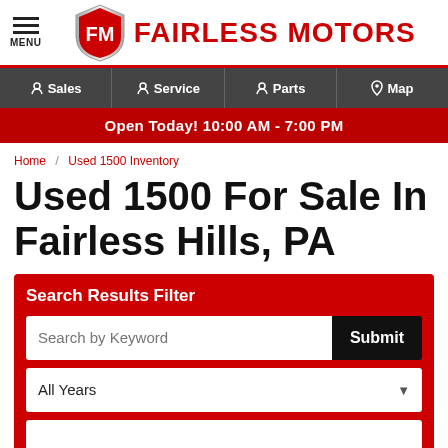MENU | FAIRLESS MOTORS
Sales | Service | Parts | Map
Open Today! 10:00 AM - 7:00 PM
Home / Used 1500 Inventory
Used 1500 For Sale In Fairless Hills, PA
Search Results Filter
Search by Keyword
All Years